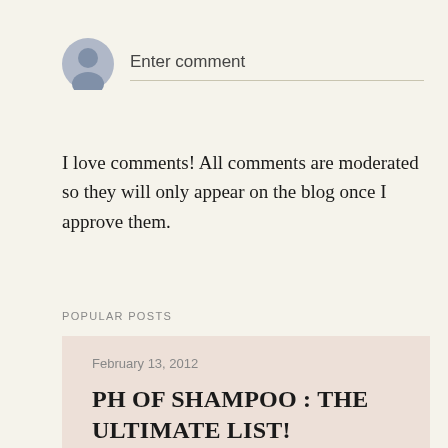[Figure (illustration): Gray placeholder avatar icon (person silhouette in a circle)]
Enter comment
I love comments! All comments are moderated so they will only appear on the blog once I approve them.
POPULAR POSTS
February 13, 2012
PH OF SHAMPOO : THE ULTIMATE LIST!